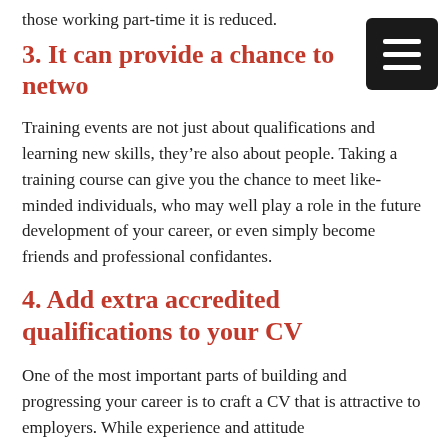those working part-time it is reduced.
3. It can provide a chance to netwo
Training events are not just about qualifications and learning new skills, they’re also about people. Taking a training course can give you the chance to meet like-minded individuals, who may well play a role in the future development of your career, or even simply become friends and professional confidantes.
4. Add extra accredited qualifications to your CV
One of the most important parts of building and progressing your career is to craft a CV that is attractive to employers. While experience and attitude